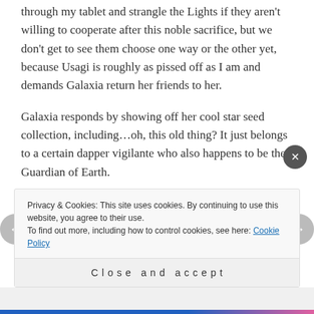through my tablet and strangle the Lights if they aren't willing to cooperate after this noble sacrifice, but we don't get to see them choose one way or the other yet, because Usagi is roughly as pissed off as I am and demands Galaxia return her friends to her.
Galaxia responds by showing off her cool star seed collection, including…oh, this old thing? It just belongs to a certain dapper vigilante who also happens to be the Guardian of Earth.
No offense, Mamoru–and I know this isn't the best
Privacy & Cookies: This site uses cookies. By continuing to use this website, you agree to their use.
To find out more, including how to control cookies, see here: Cookie Policy
Close and accept